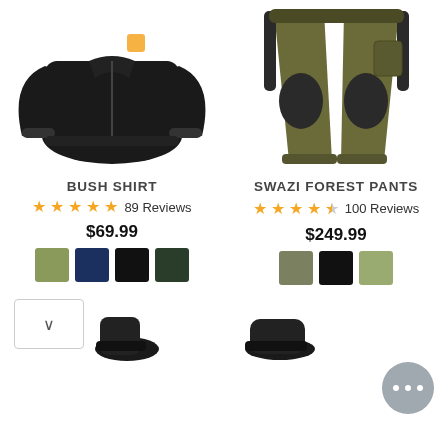[Figure (photo): Black fleece zip-up Bush Shirt product photo on white background]
[Figure (photo): Khaki and black Swazi Forest Pants product photo on white background]
BUSH SHIRT
SWAZI FOREST PANTS
★★★★★  89 Reviews
★★★★½  100 Reviews
$69.99
$249.99
[Figure (other): Color swatches for Bush Shirt: olive, navy, black, dark green]
[Figure (other): Color swatches for Swazi Forest Pants: olive/grey, black, light olive]
[Figure (other): Chat button with ellipsis icon]
[Figure (other): Scroll down button with chevron arrow]
[Figure (photo): Bottom partial product thumbnails - black boot and black shoe]
[Figure (photo): Bottom partial product thumbnail - dark footwear]